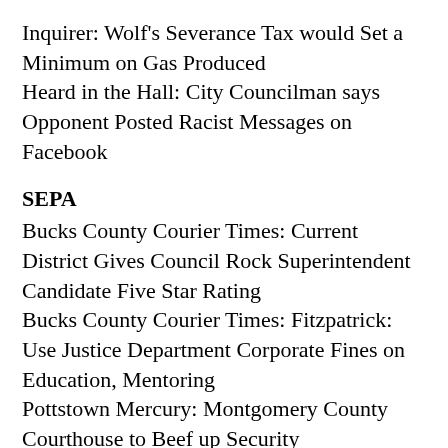Inquirer: Wolf's Severance Tax would Set a Minimum on Gas Produced
Heard in the Hall: City Councilman says Opponent Posted Racist Messages on Facebook
SEPA
Bucks County Courier Times: Current District Gives Council Rock Superintendent Candidate Five Star Rating
Bucks County Courier Times: Fitzpatrick: Use Justice Department Corporate Fines on Education, Mentoring
Pottstown Mercury: Montgomery County Courthouse to Beef up Security
Pottstown Mercury: Amity Supervisors Approve Borrowing $1.25M for Sewer Project